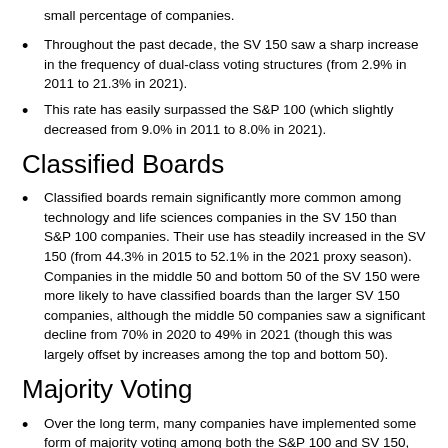small percentage of companies.
Throughout the past decade, the SV 150 saw a sharp increase in the frequency of dual-class voting structures (from 2.9% in 2011 to 21.3% in 2021).
This rate has easily surpassed the S&P 100 (which slightly decreased from 9.0% in 2011 to 8.0% in 2021).
Classified Boards
Classified boards remain significantly more common among technology and life sciences companies in the SV 150 than S&P 100 companies. Their use has steadily increased in the SV 150 (from 44.3% in 2015 to 52.1% in the 2021 proxy season). Companies in the middle 50 and bottom 50 of the SV 150 were more likely to have classified boards than the larger SV 150 companies, although the middle 50 companies saw a significant decline from 70% in 2020 to 49% in 2021 (though this was largely offset by increases among the top and bottom 50).
Majority Voting
Over the long term, many companies have implemented some form of majority voting among both the S&P 100 and SV 150,